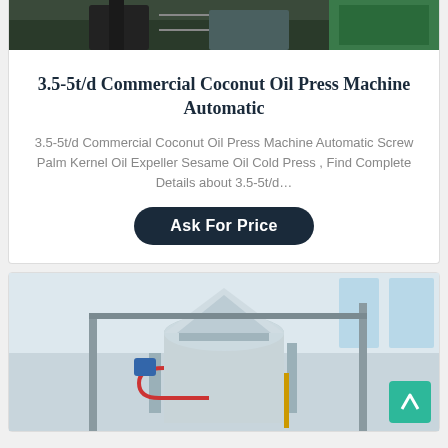[Figure (photo): Top portion of a commercial oil press machine in an industrial setting with green and dark equipment]
3.5-5t/d Commercial Coconut Oil Press Machine Automatic
3.5-5t/d Commercial Coconut Oil Press Machine Automatic Screw Palm Kernel Oil Expeller Sesame Oil Cold Press , Find Complete Details about 3.5-5t/d...
Ask For Price
[Figure (photo): Large industrial oil press machine with cylindrical white/grey body, pipes, and red tubing inside a factory building]